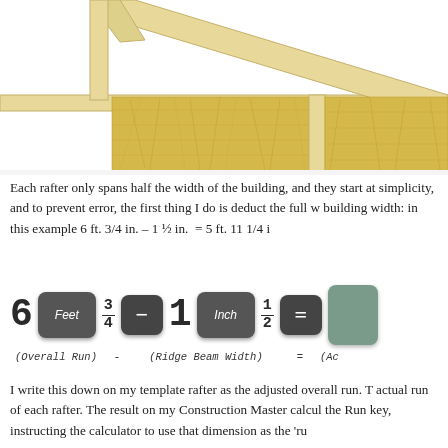[Figure (illustration): Cross-section diagram of roof rafters with yellow insulation batts between framing members, viewed from the end. Wood-colored framing visible at top with diagonal rafter and horizontal ceiling joists.]
Each rafter only spans half the width of the building, and they start at simplicity, and to prevent error, the first thing I do is deduct the full w building width: in this example 6 ft. 3/4 in. – 1 ½ in.  = 5 ft. 11 1/4 i
[Figure (schematic): Calculator-style display showing: 6 [Feet] 3/4 [minus] 1 [Inch] 1/2 [equals] [green button]. Labels below: (Overall Run) - (Ridge Beam Width) = (Ac...]
I write this down on my template rafter as the adjusted overall run. T actual run of each rafter. The result on my Construction Master calcul the Run key, instructing the calculator to use that dimension as the 'ru